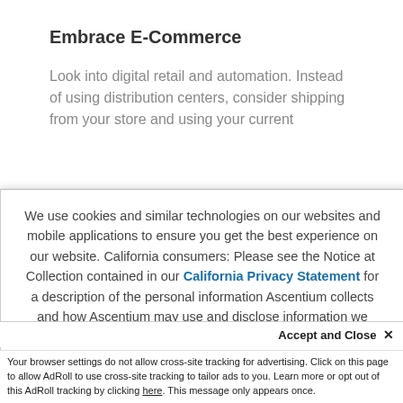Embrace E-Commerce
Look into digital retail and automation. Instead of using distribution centers, consider shipping from your store and using your current
We use cookies and similar technologies on our websites and mobile applications to ensure you get the best experience on our website. California consumers: Please see the Notice at Collection contained in our California Privacy Statement for a description of the personal information Ascentium collects and how Ascentium may use and disclose information we collect. By continuing to browse our websites and apps, you accept the use of cookies. Learn more.
Accept and Close ✕
Your browser settings do not allow cross-site tracking for advertising. Click on this page to allow AdRoll to use cross-site tracking to tailor ads to you. Learn more or opt out of this AdRoll tracking by clicking here. This message only appears once.